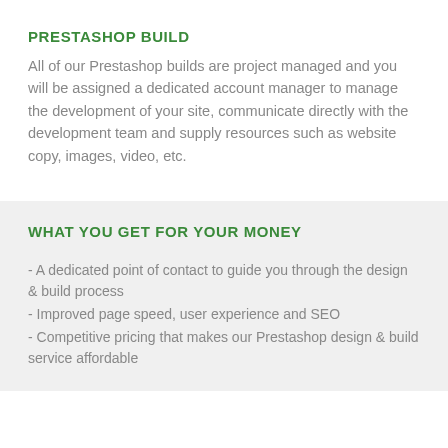PRESTASHOP BUILD
All of our Prestashop builds are project managed and you will be assigned a dedicated account manager to manage the development of your site, communicate directly with the development team and supply resources such as website copy, images, video, etc.
WHAT YOU GET FOR YOUR MONEY
- A dedicated point of contact to guide you through the design & build process
- Improved page speed, user experience and SEO
- Competitive pricing that makes our Prestashop design & build service affordable